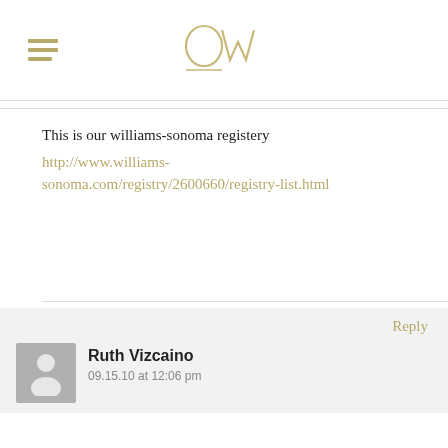[Figure (logo): OW stylized logo in gold/tan color with hamburger menu icon on the left]
This is our williams-sonoma registery
http://www.williams-sonoma.com/registry/2600660/registry-list.html
Reply
Ruth Vizcaino
09.15.10 at 12:06 pm
Just added the panini maker. Here's mine:
https://secure.williams-sonoma.com/registry/2620038/registry-list.html